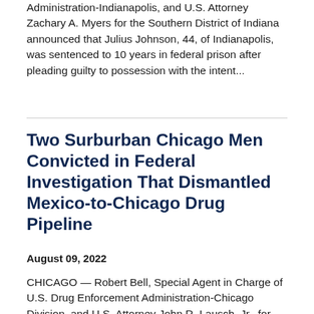Administration-Indianapolis, and U.S. Attorney Zachary A. Myers for the Southern District of Indiana announced that Julius Johnson, 44, of Indianapolis, was sentenced to 10 years in federal prison after pleading guilty to possession with the intent...
Two Surburban Chicago Men Convicted in Federal Investigation That Dismantled Mexico-to-Chicago Drug Pipeline
August 09, 2022
CHICAGO — Robert Bell, Special Agent in Charge of U.S. Drug Enforcement Administration-Chicago Division, and U.S. Attorney John R. Lausch, Jr., for the